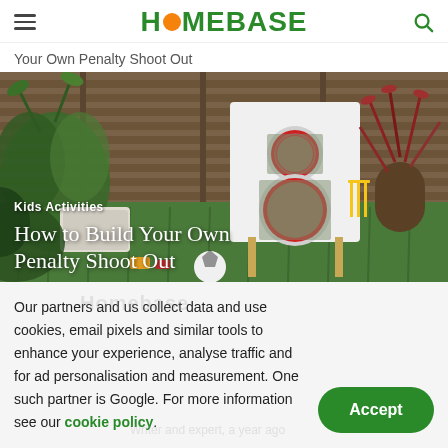HOMEBASE
Your Own Penalty Shoot Out
[Figure (photo): Garden scene with a white DIY penalty shoot-out board with red circular holes, set on artificial grass. Background shows wooden fence panels, tropical plants, and a wicker basket planter. Kids cricket set visible in background.]
Kids Activities
How to Build Your Own Penalty Shoot Out
Our partners and us collect data and use cookies, email pixels and similar tools to enhance your experience, analyse traffic and for ad personalisation and measurement. One such partner is Google. For more information see our cookie policy.